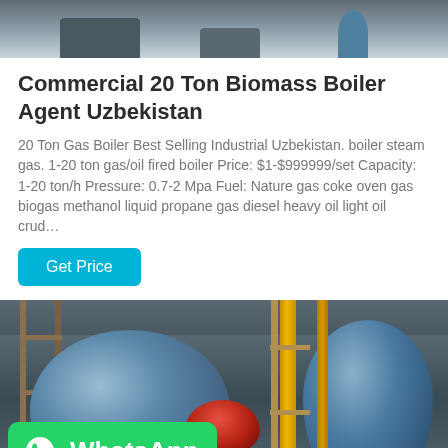[Figure (photo): Top portion of an industrial boiler or equipment photo, partially cropped at top of page]
Commercial 20 Ton Biomass Boiler Agent Uzbekistan
20 Ton Gas Boiler Best Selling Industrial Uzbekistan. boiler steam gas. 1-20 ton gas/oil fired boiler Price: $1-$999999/set Capacity: 1-20 ton/h Pressure: 0.7-2 Mpa Fuel: Nature gas coke oven gas biogas methanol liquid propane gas diesel heavy oil light oil crud…
[Figure (other): Get Price button — cyan/turquoise rounded rectangle button]
[Figure (photo): Industrial boiler room with large cylindrical blue boilers, red burner, yellow gas pipes and scaffolding, with a WhatsApp overlay button in the lower left corner]